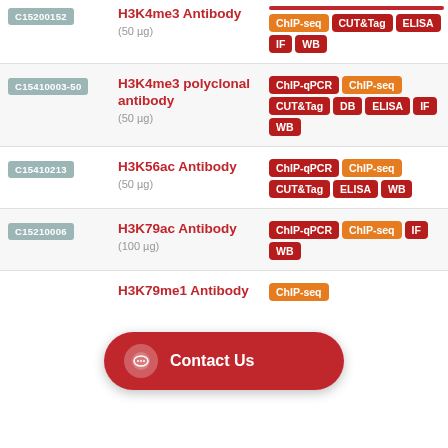| Product ID | Product Name | Applications | Description |
| --- | --- | --- | --- |
| C15200152 | H3K4me3 Antibody (50 µg) | ChIP-seq, CUT&Tag, ELISA, IF, WB |  |
| C15410003-50 | H3K4me3 polyclonal antibody (50 µg) | ChIP-qPCR, ChIP-seq, CUT&Tag, DB, ELISA, IF, WB |  |
| C15410213 | H3K56ac Antibody (50 µg) | ChIP-qPCR, ChIP-seq, CUT&Tag, ELISA, WB |  |
| C15210006 | H3K79ac Antibody (100 µg) | ChIP-qPCR, ChIP-seq, IF, WB |  |
|  | H3K79me1 Antibody | ChIP-seq |  |
Contact Us